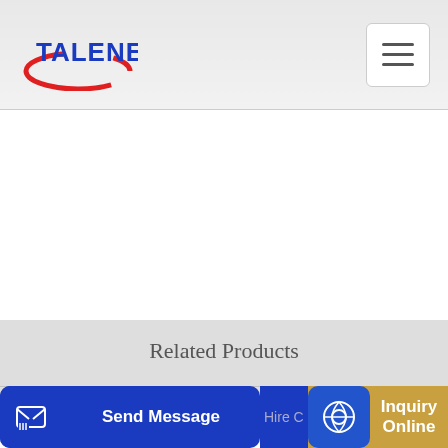[Figure (logo): Talenet logo with red arc and blue text]
Related Products
2005 Volvo VHD T A Mixer Truck in Cumming Georgia
Mobile Concrete Batching Plant Papua New Guinea Quarry
Send Message
Hire C...
Inquiry Online